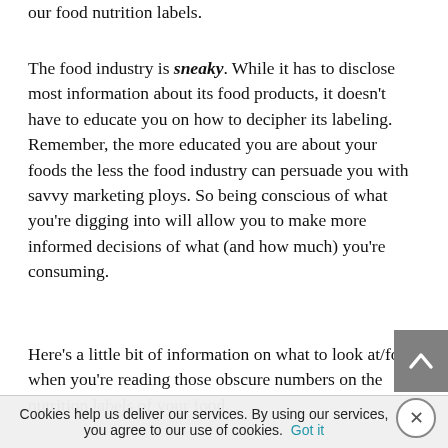our food nutrition labels.
The food industry is sneaky. While it has to disclose most information about its food products, it doesn't have to educate you on how to decipher its labeling. Remember, the more educated you are about your foods the less the food industry can persuade you with savvy marketing ploys. So being conscious of what you're digging into will allow you to make more informed decisions of what (and how much) you're consuming.
Here's a little bit of information on what to look at/for when you're reading those obscure numbers on the nutrition labels of your food
Cookies help us deliver our services. By using our services, you agree to our use of cookies. Got it